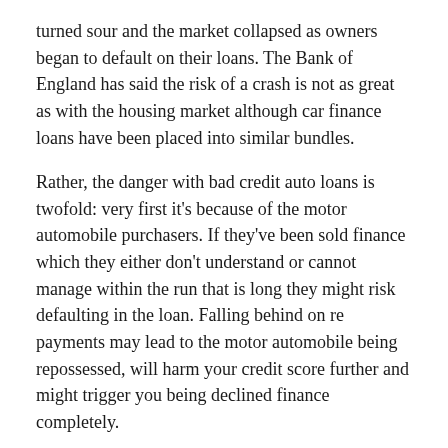turned sour and the market collapsed as owners began to default on their loans. The Bank of England has said the risk of a crash is not as great as with the housing market although car finance loans have been placed into similar bundles.
Rather, the danger with bad credit auto loans is twofold: very first it's because of the motor automobile purchasers. If they've been sold finance which they either don't understand or cannot manage within the run that is long they might risk defaulting in the loan. Falling behind on re payments may lead to the motor automobile being repossessed, will harm your credit score further and might trigger you being declined finance completely.
This is basically the primary concern for the FCA's investigation that is current have actually the conditions and terms of this loan been correctly explained into the